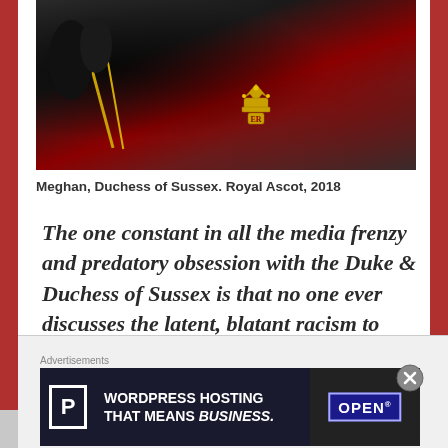[Figure (photo): Close-up photo of a dark royal carriage exterior with gold trim and royal emblem/crest, showing black lacquered panels and burgundy/crimson surfaces. Royal Ascot 2018.]
Meghan, Duchess of Sussex. Royal Ascot, 2018
The one constant in all the media frenzy and predatory obsession with the Duke & Duchess of Sussex is that no one ever discusses the latent, blatant racism to which the Sussexes have been subjected. They will write volumes and cash in; however, had Prince Harry married a
Advertisements
[Figure (screenshot): WordPress Hosting advertisement banner: dark background with white letter P logo in a box, text 'WORDPRESS HOSTING THAT MEANS BUSINESS.' in bold white caps, and an OPEN sign image on the right.]